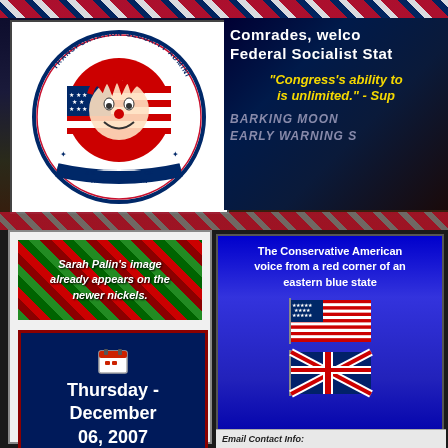[Figure (logo): Transportation Security Administration / U.S. Department of Transportation seal with clown face replacing normal imagery]
Comrades, welco Federal Socialist Stat
"Congress's ability to is unlimited." - Sup
BARKING MOON EARLY WARNING S
[Figure (illustration): Tartan/plaid patterned box with italic text: Sarah Palin's image already appears on the newer nickels.]
Sarah Palin's image already appears on the newer nickels.
Thursday - December 06, 2007
The Conservative American voice from a red corner of an eastern blue state
[Figure (illustration): American flag waving]
[Figure (illustration): United Kingdom flag waving]
Email Contact Info: